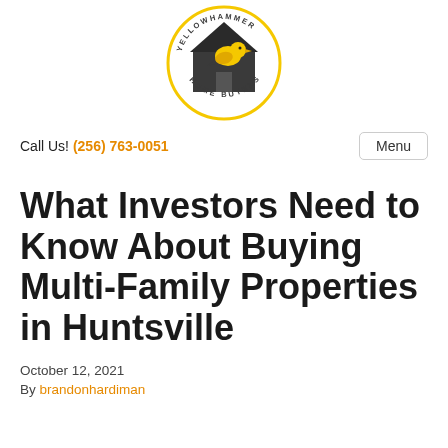[Figure (logo): Yellowhammer Home Buyers circular logo with a yellow bird (yellowhammer) and dark house silhouette on a yellow circle outline, with text 'YELLOWHAMMER HOME BUYERS' around the circle]
Call Us! (256) 763-0051
Menu
What Investors Need to Know About Buying Multi-Family Properties in Huntsville
October 12, 2021
By brandonhardiman